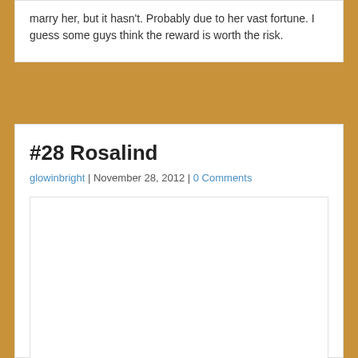marry her, but it hasn’t. Probably due to her vast fortune. I guess some guys think the reward is worth the risk.
#28 Rosalind
glowinbright | November 28, 2012 | 0 Comments
[Figure (other): White blank image placeholder area]